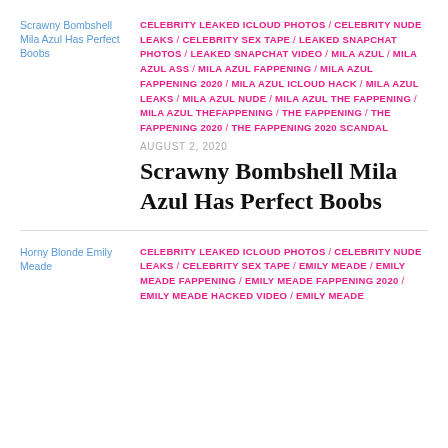[Figure (illustration): Thumbnail image placeholder for 'Scrawny Bombshell Mila Azul Has Perfect Boobs']
CELEBRITY LEAKED ICLOUD PHOTOS / CELEBRITY NUDE LEAKS / CELEBRITY SEX TAPE / LEAKED SNAPCHAT PHOTOS / LEAKED SNAPCHAT VIDEO / MILA AZUL / MILA AZUL ASS / MILA AZUL FAPPENING / MILA AZUL FAPPENING 2020 / MILA AZUL ICLOUD HACK / MILA AZUL LEAKS / MILA AZUL NUDE / MILA AZUL THE FAPPENING / MILA AZUL THEFAPPENING / THE FAPPENING / THE FAPPENING 2020 / THE FAPPENING 2020 SCANDAL
AUGUST 2, 2020
Scrawny Bombshell Mila Azul Has Perfect Boobs
[Figure (illustration): Thumbnail image placeholder for 'Horny Blonde Emily Meade']
CELEBRITY LEAKED ICLOUD PHOTOS / CELEBRITY NUDE LEAKS / CELEBRITY SEX TAPE / EMILY MEADE / EMILY MEADE FAPPENING / EMILY MEADE FAPPENING 2020 / EMILY MEADE HACKED VIDEO / EMILY MEADE